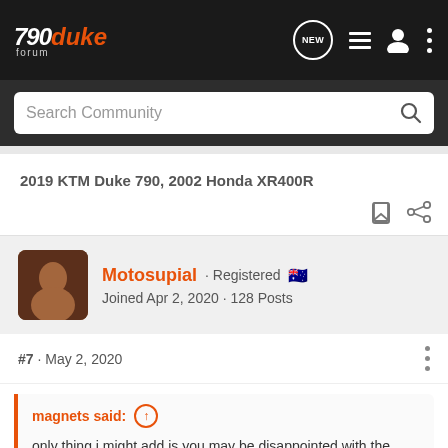790 duke forum - navigation bar with NEW, list, user, and menu icons
Search Community
2019 KTM Duke 790, 2002 Honda XR400R
Motosupial · Registered 🇦🇺 Joined Apr 2, 2020 · 128 Posts
#7 · May 2, 2020
magnets said: ↑
only thing i might add is you may be disappointed with the reliability. They aren't built like the japanese bikes. Don't get me wrong; i love my 790. But its back in for another warranty fix on Tuesday. That